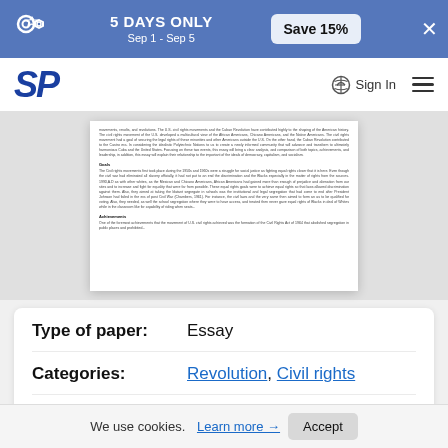5 DAYS ONLY Sep 1 - Sep 5 | Save 15%
[Figure (logo): SP logo - StudyPool blue italic letters]
Sign In
[Figure (screenshot): Blurred document preview showing essay text with sections Goals and Achievements]
| Field | Value |
| --- | --- |
| Type of paper: | Essay |
| Categories: | Revolution, Civil rights |
| Pages: | 5 |
We use cookies. Learn more → Accept